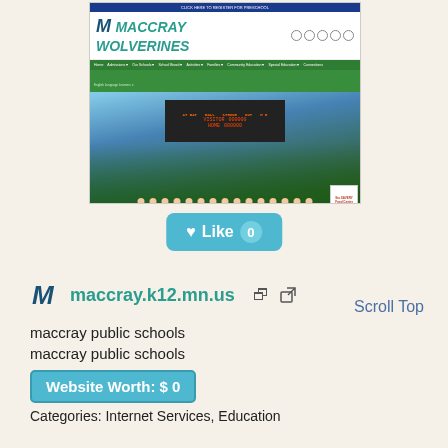[Figure (screenshot): Screenshot of maccray.k12.mn.us website showing the Maccray Wolverines school website with logo, navigation bar, and a team photo of a baseball/sports team in blue uniforms standing in front of a scoreboard. Watermark reads sitelike.org]
♥ Like  0
maccray.k12.mn.us ↗
Scroll Top
maccray public schools
maccray public schools
Website Worth: $ 0
Categories: Internet Services, Education